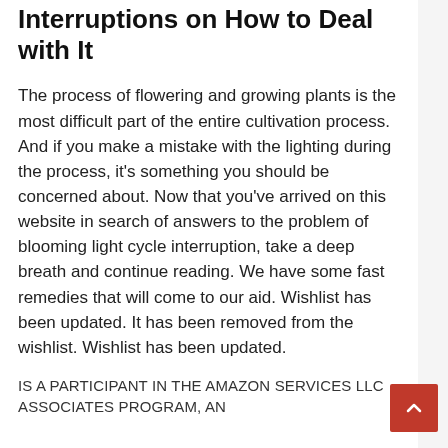Interruptions on How to Deal with It
The process of flowering and growing plants is the most difficult part of the entire cultivation process. And if you make a mistake with the lighting during the process, it's something you should be concerned about. Now that you've arrived on this website in search of answers to the problem of blooming light cycle interruption, take a deep breath and continue reading. We have some fast remedies that will come to our aid. Wishlist has been updated. It has been removed from the wishlist. Wishlist has been updated.
IS A PARTICIPANT IN THE AMAZON SERVICES LLC ASSOCIATES PROGRAM, AN